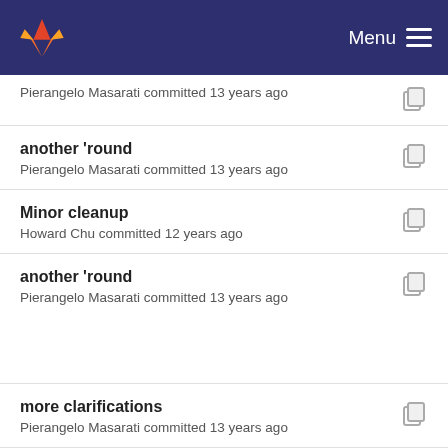Menu
Pierangelo Masarati committed 13 years ago
another 'round
Pierangelo Masarati committed 13 years ago
Minor cleanup
Howard Chu committed 12 years ago
another 'round
Pierangelo Masarati committed 13 years ago
more clarifications
Pierangelo Masarati committed 13 years ago
another 'round
Pierangelo Masarati committed 13 years ago
document all options, including TLS and (not yet c...